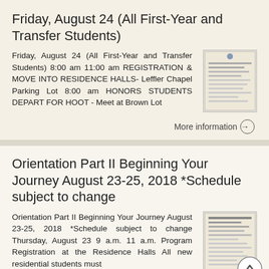Friday, August 24 (All First-Year and Transfer Students)
Friday, August 24 (All First-Year and Transfer Students) 8:00 am 11:00 am REGISTRATION & MOVE INTO RESIDENCE HALLS- Leffler Chapel Parking Lot 8:00 am HONORS STUDENTS DEPART FOR HOOT - Meet at Brown Lot
More information →
Orientation Part II Beginning Your Journey August 23-25, 2018 *Schedule subject to change
Orientation Part II Beginning Your Journey August 23-25, 2018 *Schedule subject to change Thursday, August 23 9 a.m. 11 a.m. Program Registration at the Residence Halls All new residential students must